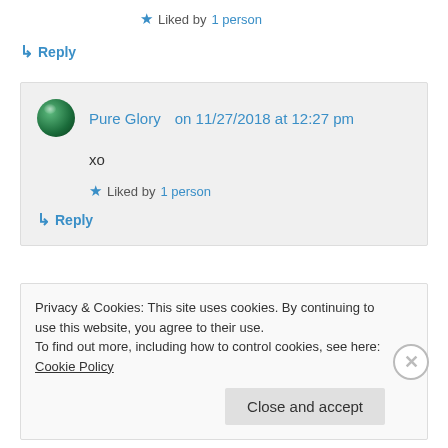★ Liked by 1 person
↳ Reply
Pure Glory on 11/27/2018 at 12:27 pm
xo
★ Liked by 1 person
↳ Reply
Privacy & Cookies: This site uses cookies. By continuing to use this website, you agree to their use. To find out more, including how to control cookies, see here: Cookie Policy
Close and accept